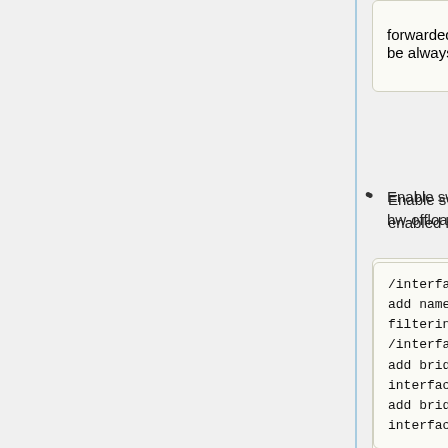forwarded to the CPU, the pvid property for the bridge port will be always used instead of new-vlan-id from ACL rules.
Enable switching on ports by creating a bridge with enabled hw-offloading.
[Figure (screenshot): Code block: /interface bridge add name=bridge1 vlan-filtering=yes /interface bridge port add bridge=bridge1 interface=ether2 hw=yes add bridge=bridge1 interface=ether7 hw=yes]
Add VLANs in the Bridge VLAN table and specify ports.
[Figure (screenshot): Code block: /interface bridge vlan add bridge=bridge1 tagged=ether2 untagged=ether7 vlan-ids=200,300,400]